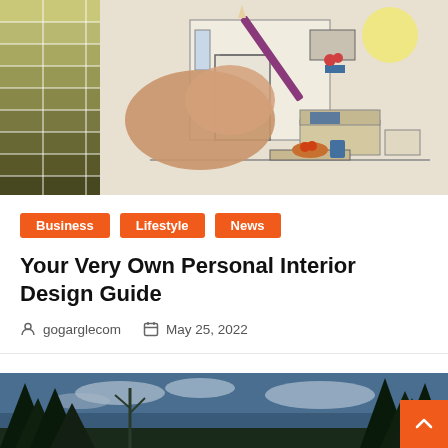[Figure (photo): A hand holding a pencil over an interior design sketch of a living room, with paint color swatches on the left side]
Business
Lifestyle
News
Your Very Own Personal Interior Design Guide
gogarglecom   May 25, 2022
[Figure (photo): Forest scene with tall pine trees against a blue cloudy sky]